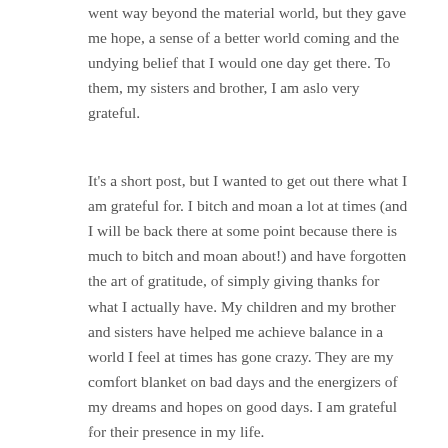went way beyond the material world, but they gave me hope, a sense of a better world coming and the undying belief that I would one day get there. To them, my sisters and brother, I am aslo very grateful.
It's a short post, but I wanted to get out there what I am grateful for. I bitch and moan a lot at times (and I will be back there at some point because there is much to bitch and moan about!) and have forgotten the art of gratitude, of simply giving thanks for what I actually have. My children and my brother and sisters have helped me achieve balance in a world I feel at times has gone crazy. They are my comfort blanket on bad days and the energizers of my dreams and hopes on good days. I am grateful for their presence in my life.